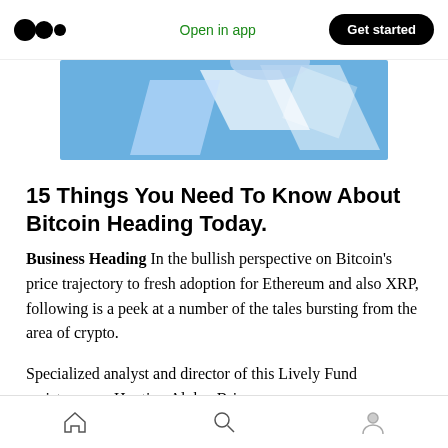Open in app  Get started
[Figure (illustration): Partial blue/white geometric hero image, top portion of a crypto-related article illustration]
15 Things You Need To Know About Bitcoin Heading Today.
Business Heading In the bullish perspective on Bitcoin's price trajectory to fresh adoption for Ethereum and also XRP, following is a peek at a number of the tales bursting from the area of crypto.
Specialized analyst and director of this Lively Fund assistance on Hunting Alpha, Brian
Home  Search  Profile